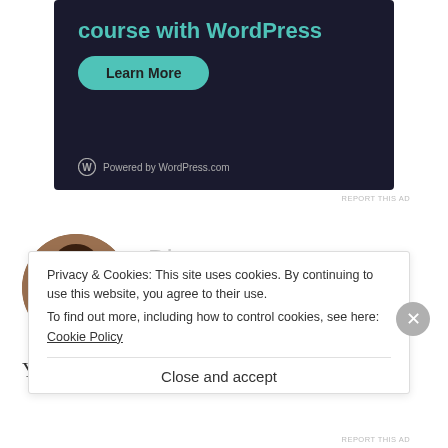[Figure (screenshot): WordPress.com advertisement banner with dark background showing 'course with WordPress' heading in teal, a 'Learn More' button in teal, and 'Powered by WordPress.com' at the bottom.]
REPORT THIS AD
Diana
JANUARY 17, 2017 AT 6:19 AM
You have nothing to be embarrassed
Privacy & Cookies: This site uses cookies. By continuing to use this website, you agree to their use.
To find out more, including how to control cookies, see here: Cookie Policy
Close and accept
REPORT THIS AD